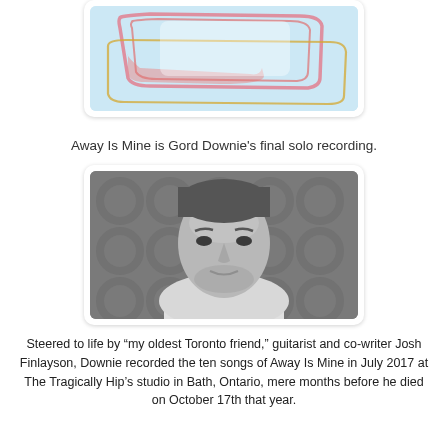[Figure (illustration): Abstract watercolor-style artwork with pink and yellow rounded rectangle outlines on a light blue background — album art for 'Away Is Mine']
Away Is Mine is Gord Downie's final solo recording.
[Figure (photo): Black-and-white portrait photograph of a man (Gord Downie) looking directly at the camera, with short hair and stubble, wearing a white shirt, against a patterned background]
Steered to life by “my oldest Toronto friend,” guitarist and co-writer Josh Finlayson, Downie recorded the ten songs of Away Is Mine in July 2017 at The Tragically Hip’s studio in Bath, Ontario, mere months before he died on October 17th that year.